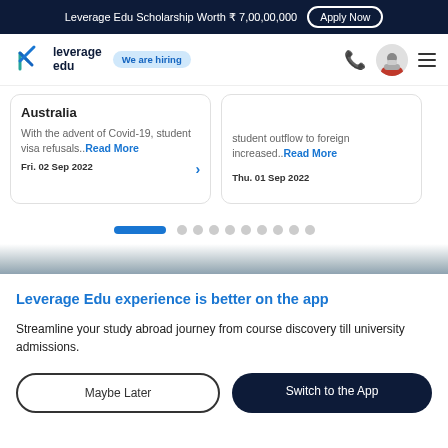Leverage Edu Scholarship Worth ₹ 7,00,00,000  Apply Now
[Figure (logo): Leverage Edu logo with teal V-shape icon and 'leverage edu' text, plus 'We are hiring' badge, phone icon, avatar icon, hamburger menu]
Australia
With the advent of Covid-19, student visa refusals...Read More
Fri. 02 Sep 2022
student outflow to foreign increased...Read More
Thu. 01 Sep 2022
[Figure (infographic): Pagination indicator: one active blue pill and 9 grey dots]
Leverage Edu experience is better on the app
Streamline your study abroad journey from course discovery till university admissions.
Maybe Later
Switch to the App